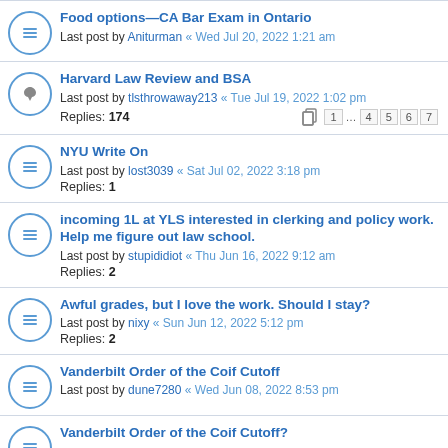Food options—CA Bar Exam in Ontario
Last post by Aniturman « Wed Jul 20, 2022 1:21 am
Harvard Law Review and BSA
Last post by tlsthrowaway213 « Tue Jul 19, 2022 1:02 pm
Replies: 174
Pages: 1 ... 4 5 6 7
NYU Write On
Last post by lost3039 « Sat Jul 02, 2022 3:18 pm
Replies: 1
incoming 1L at YLS interested in clerking and policy work. Help me figure out law school.
Last post by stupididiot « Thu Jun 16, 2022 9:12 am
Replies: 2
Awful grades, but I love the work. Should I stay?
Last post by nixy « Sun Jun 12, 2022 5:12 pm
Replies: 2
Vanderbilt Order of the Coif Cutoff
Last post by dune7280 « Wed Jun 08, 2022 8:53 pm
Vanderbilt Order of the Coif Cutoff?
Last post by dune7280 « Wed Jun 08, 2022 ...